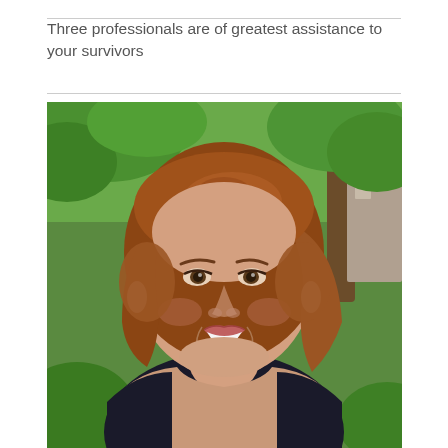Three professionals are of greatest assistance to your survivors
[Figure (photo): Headshot of a smiling woman with reddish-brown shoulder-length hair, wearing a black floral sleeveless top, photographed outdoors with green foliage in the background.]